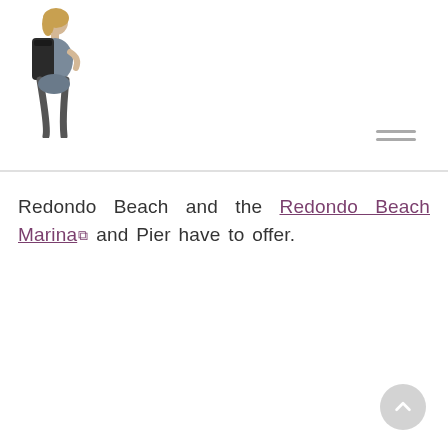[Figure (photo): A person with a backpack standing and holding something, viewed from behind/side, with blonde hair, wearing a grey outfit.]
Redondo Beach and the Redondo Beach Marina and Pier have to offer.